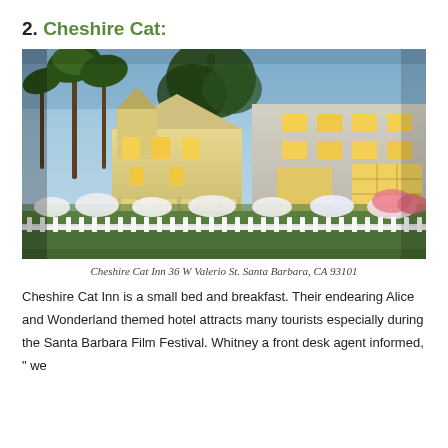2. Cheshire Cat:
[Figure (photo): Exterior photo of Cheshire Cat Inn at dusk. Victorian-style building on the left with warm yellow-lit windows, a larger gray modern building on the right also with glowing windows. White picket fence in the foreground, white flowers in garden beds, palm trees and large trees in the background against a blue twilight sky.]
Cheshire Cat Inn 36 W Valerio St. Santa Barbara, CA 93101
Cheshire Cat Inn is a small bed and breakfast. Their endearing Alice and Wonderland themed hotel attracts many tourists especially during the Santa Barbara Film Festival. Whitney a front desk agent informed, " we